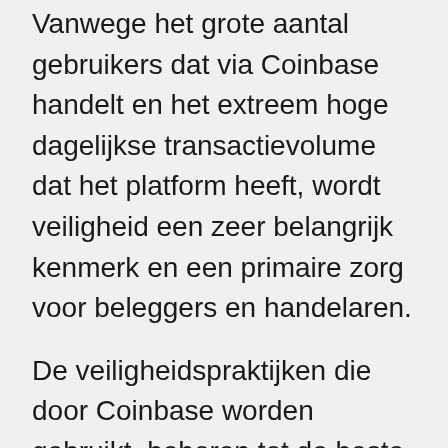Vanwege het grote aantal gebruikers dat via Coinbase handelt en het extreem hoge dagelijkse transactievolume dat het platform heeft, wordt veiligheid een zeer belangrijk kenmerk en een primaire zorg voor beleggers en handelaren.
De veiligheidspraktijken die door Coinbase worden gebruikt, behoren tot de beste in de branche, zoals het feit dat 98% van alle activa die door klanten worden beheerd via Coinbase offline worden opgeslagen via digitale en papieren back-ups in een netwerk van kluisjes over de hele wereld.
Door activa offline op te slaan, zijn ze immuun voor hacks en cyberaanvallen, waardoor het veiligheidsniveau van deze activa wordt verhoogd.